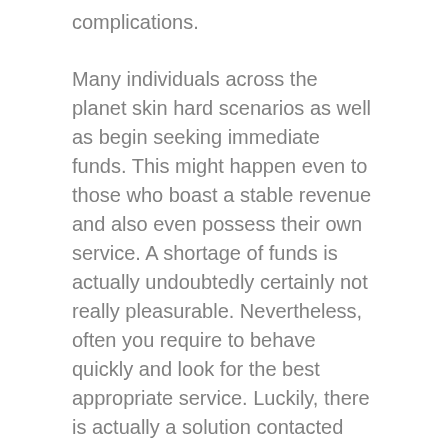complications.
Many individuals across the planet skin hard scenarios as well as begin seeking immediate funds. This might happen even to those who boast a stable revenue and also even possess their own service. A shortage of funds is actually undoubtedly certainly not really pleasurable. Nevertheless, often you require to behave quickly and look for the best appropriate service. Luckily, there is actually a solution contacted Speedyloan.net, the best direct lending institutions in the state. Stop being reluctant and submit an extremely easy document that will definitely aid to get the needed amount of amount of money only in 24 hours.